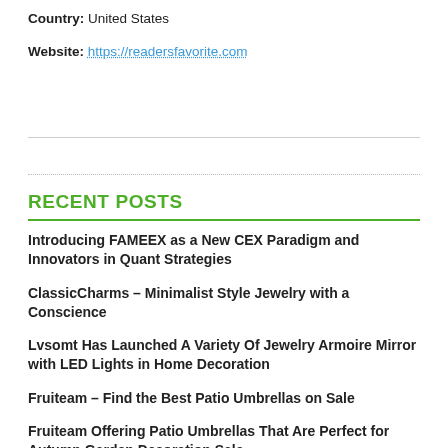Country: United States
Website: https://readersfavorite.com
RECENT POSTS
Introducing FAMEEX as a New CEX Paradigm and Innovators in Quant Strategies
ClassicCharms – Minimalist Style Jewelry with a Conscience
Lvsomt Has Launched A Variety Of Jewelry Armoire Mirror with LED Lights in Home Decoration
Fruiteam – Find the Best Patio Umbrellas on Sale
Fruiteam Offering Patio Umbrellas That Are Perfect for...